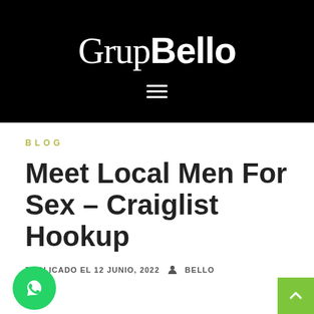[Figure (logo): GrupBello website header logo on black background with hamburger menu icon]
BLOG
Meet Local Men For Sex – Craiglist Hookup
PUBLICADO EL 12 JUNIO, 2022   BELLO